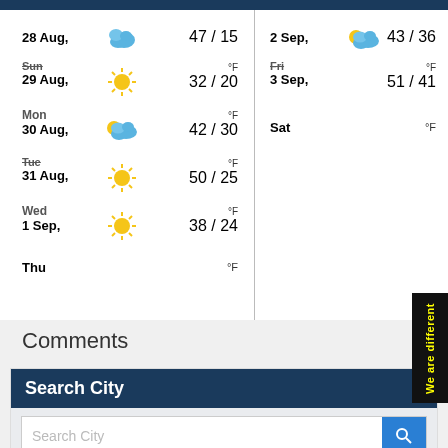[Figure (infographic): Weather forecast table showing 7-day forecast split into two columns. Left column: 28 Aug (cloud, 47/15), Sun 29 Aug (sun, 32/20 °F), Mon 30 Aug (partly cloudy, 42/30 °F), Tue 31 Aug (sun, 50/25 °F), Wed 1 Sep (sun, 38/24 °F), Thu (°F). Right column: 2 Sep (partly cloudy, 43/36), Fri 3 Sep (51/41 °F), Sat (°F).]
Comments
Search City
Search City